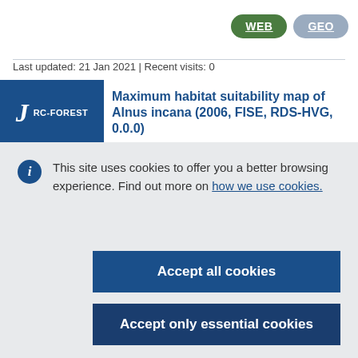WEB   GEO
Last updated: 21 Jan 2021 | Recent visits: 0
Maximum habitat suitability map of Alnus incana (2006, FISE, RDS-HVG, 0.0.0)
This site uses cookies to offer you a better browsing experience. Find out more on how we use cookies.
Accept all cookies
Accept only essential cookies